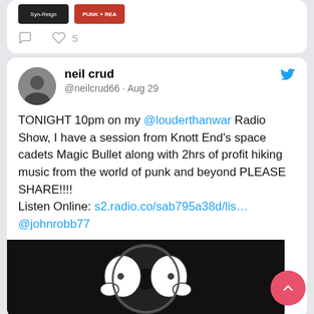[Figure (screenshot): Partial top tweet card with image thumbnails and interaction row showing comment icon and heart icon with 5 likes]
[Figure (screenshot): Tweet by neil crud (@neilcrud66, Aug 29) with Twitter bird icon, avatar photo of person in black shirt]
TONIGHT 10pm on my @louderthanwar Radio Show, I have a session from Knott End's space cadets Magic Bullet along with 2hrs of profit hiking music from the world of punk and beyond PLEASE SHARE!!!!
Listen Online: s2.radio.co/sab795a38d/lis…
@johnrobb77
[Figure (illustration): Black and white illustration of cartoon character holding vinyl record]
Tweets from @link2wales
[Figure (screenshot): link2wales Twitter profile avatar - circular red/orange badge logo]